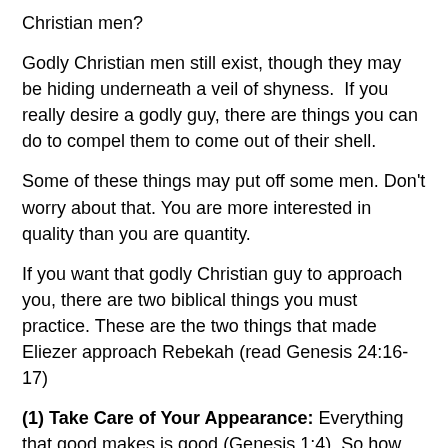Christian men?
Godly Christian men still exist, though they may be hiding underneath a veil of shyness.  If you really desire a godly guy, there are things you can do to compel them to come out of their shell.
Some of these things may put off some men. Don't worry about that. You are more interested in quality than you are quantity.
If you want that godly Christian guy to approach you, there are two biblical things you must practice. These are the two things that made Eliezer approach Rebekah (read Genesis 24:16-17)
(1) Take Care of Your Appearance: Everything that good makes is good (Genesis 1:4). So how God made you